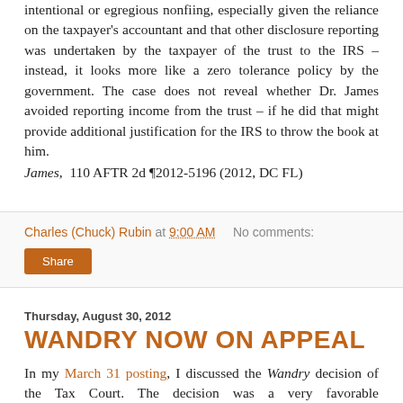intentional or egregious nonfiing, especially given the reliance on the taxpayer's accountant and that other disclosure reporting was undertaken by the taxpayer of the trust to the IRS – instead, it looks more like a zero tolerance policy by the government. The case does not reveal whether Dr. James avoided reporting income from the trust – if he did that might provide additional justification for the IRS to throw the book at him.
James, 110 AFTR 2d ¶2012-5196 (2012, DC FL)
Charles (Chuck) Rubin at 9:00 AM   No comments:
Share
Thursday, August 30, 2012
WANDRY NOW ON APPEAL
In my March 31 posting, I discussed the Wandry decision of the Tax Court. The decision was a very favorable determination that approved of a formula clause to limit the amount of a gift (and the limits on estate gifts to…)